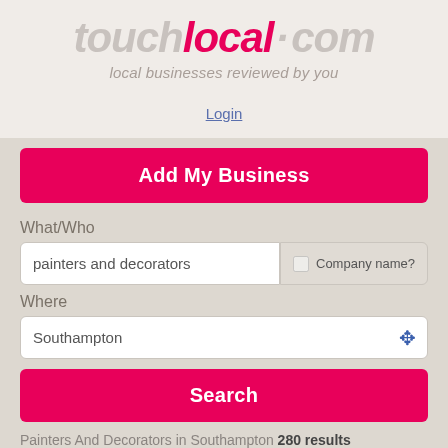[Figure (logo): touchlocal.com logo with tagline 'local businesses reviewed by you']
Login
Add My Business
What/Who
painters and decorators
Company name?
Where
Southampton
Search
Painters And Decorators in Southampton 280 results